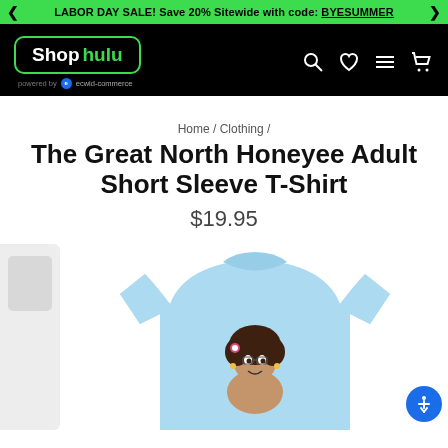LABOR DAY SALE! Save 20% Sitewide with code: BYESUMMER
[Figure (logo): Shop Hulu logo with green border on black nav bar, powered by Ecwid Commerce, with search, heart, menu, and cart icons]
Home / Clothing /
The Great North Honeyee Adult Short Sleeve T-Shirt
$19.95
[Figure (photo): Light blue t-shirt with animated cartoon character (Honeyee from The Great North) printed on front, shown on white background with thumbnail strip on left side]